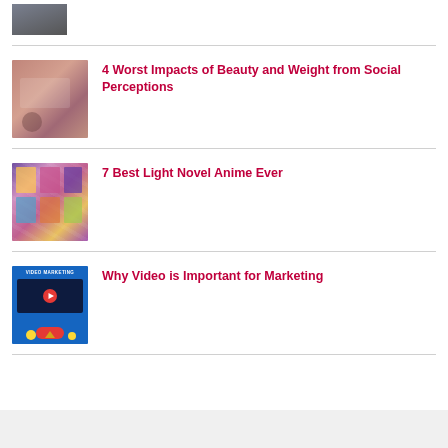[Figure (photo): Partial thumbnail image at top of page, partially cropped]
[Figure (photo): Young woman looking distressed, holding phone]
4 Worst Impacts of Beauty and Weight from Social Perceptions
[Figure (photo): Collage of anime/light novel covers]
7 Best Light Novel Anime Ever
[Figure (photo): Video marketing promotional image with play button and hand]
Why Video is Important for Marketing